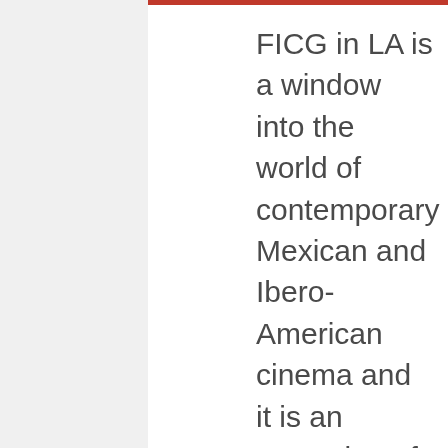FICG in LA is a window into the world of contemporary Mexican and Ibero-American cinema and it is an extension of the Guadalajara Film Festival. This year's FICG in LA will take place in the historic Egyptian Theatre, right in the heart of the worldwide film and entertainment industry. The festival is designed for people to come and explore the diverse regional narratives of Mexican and Ibero-America cinema, and to help critically acclaimed films from these regions reach a wider audience. Los Angeles